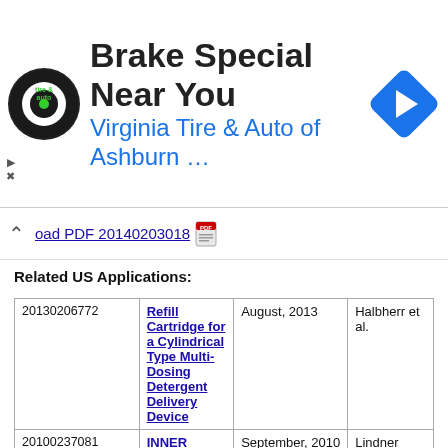[Figure (other): Advertisement banner for Virginia Tire & Auto of Ashburn showing logo, headline 'Brake Special Near You', and a navigation arrow icon]
oad PDF 20140203018
Related US Applications:
|  |  |  |  |
| --- | --- | --- | --- |
| 20130206772 | Refill Cartridge for a Cylindrical Type Multi-Dosing Detergent Delivery Device | August, 2013 | Halbherr et al. |
| 20100237081 | INNER SHELL FOR A PRESSURE VESSEL | September, 2010 | Lindner |
| 20070241104 | Storage and transport container with telescopic side walls | October, 2007 | Huizingh et al. |
| 20110089187 | Shatterproof Container And Cap Assembly | April, 2011 | Steiger et al. |
| 20150034646 | CLOSURE SYSTEM | February, 2015 | Tang et al. |
| 20070270804 | Combination dispenser and | November, |  |